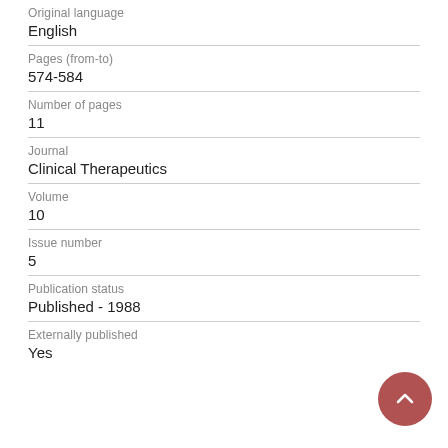Original language
English
Pages (from-to)
574-584
Number of pages
11
Journal
Clinical Therapeutics
Volume
10
Issue number
5
Publication status
Published - 1988
Externally published
Yes